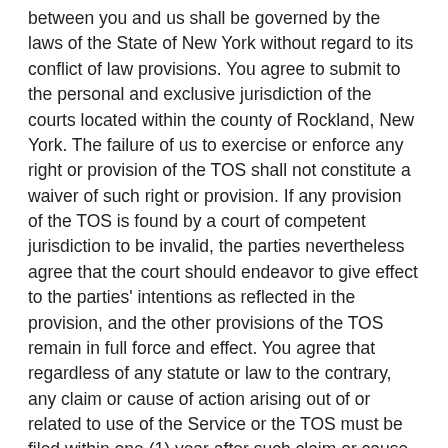between you and us shall be governed by the laws of the State of New York without regard to its conflict of law provisions. You agree to submit to the personal and exclusive jurisdiction of the courts located within the county of Rockland, New York. The failure of us to exercise or enforce any right or provision of the TOS shall not constitute a waiver of such right or provision. If any provision of the TOS is found by a court of competent jurisdiction to be invalid, the parties nevertheless agree that the court should endeavor to give effect to the parties' intentions as reflected in the provision, and the other provisions of the TOS remain in full force and effect. You agree that regardless of any statute or law to the contrary, any claim or cause of action arising out of or related to use of the Service or the TOS must be filed within one (1) year after such claim or cause of action arose or be forever barred. The section titles in the TOS are for convenience only and have no legal or contractual effect.
VIOLATIONS AND COMMENTS
Please report any violations of the TOS to info@saigontoserco.com, titled: Abuse; or make any comments to info@saigontoserco.com,